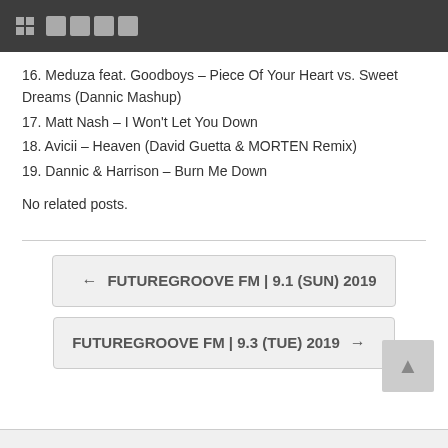☰ 🔲🔲🔲🔲
16. Meduza feat. Goodboys – Piece Of Your Heart vs. Sweet Dreams (Dannic Mashup)
17. Matt Nash – I Won't Let You Down
18. Avicii – Heaven (David Guetta & MORTEN Remix)
19. Dannic & Harrison – Burn Me Down
No related posts.
← FUTUREGROOVE FM | 9.1 (SUN) 2019
FUTUREGROOVE FM | 9.3 (TUE) 2019 →